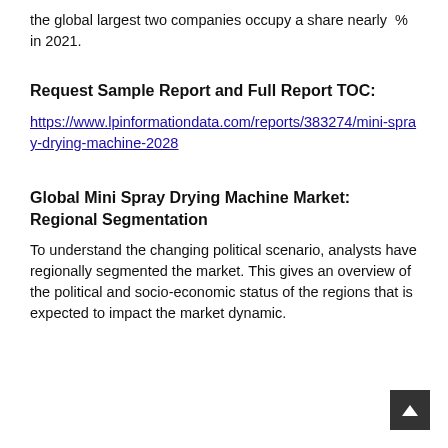the global largest two companies occupy a share nearly  % in 2021.
Request Sample Report and Full Report TOC:
https://www.lpinformationdata.com/reports/383274/mini-spray-drying-machine-2028
Global Mini Spray Drying Machine Market: Regional Segmentation
To understand the changing political scenario, analysts have regionally segmented the market. This gives an overview of the political and socio-economic status of the regions that is expected to impact the market dynamic.